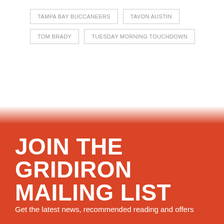TAMPA BAY BUCCANEERS
TAVON AUSTIN
TOM BRADY
TUESDAY MORNING TOUCHDOWN
JOIN THE GRIDIRON MAILING LIST
Get the latest news, recommended reading and offers